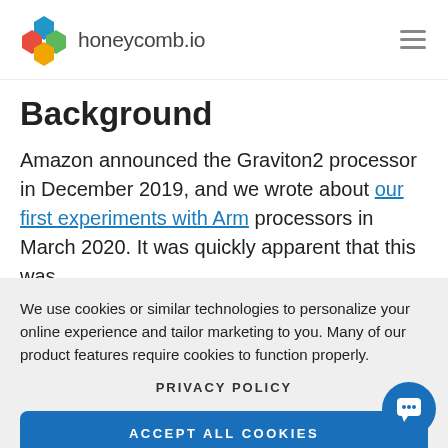[Figure (logo): honeycomb.io logo with hexagon icons in blue, green, orange, red]
Background
Amazon announced the Graviton2 processor in December 2019, and we wrote about our first experiments with Arm processors in March 2020. It was quickly apparent that this was
We use cookies or similar technologies to personalize your online experience and tailor marketing to you. Many of our product features require cookies to function properly.
PRIVACY POLICY
ACCEPT ALL COOKIES